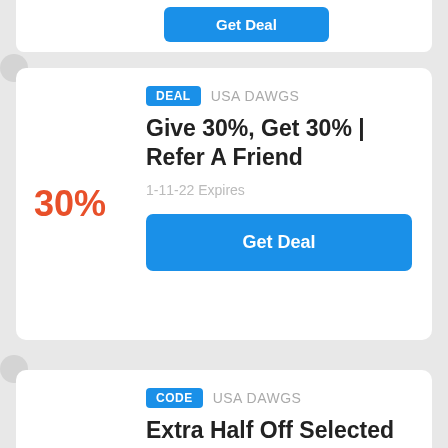[Figure (screenshot): Partial coupon/deal card at top showing a blue Get Deal button partially visible]
DEAL   USA DAWGS
Give 30%, Get 30% | Refer A Friend
30%
1-11-22 Expires
Get Deal
CODE   USA DAWGS
Extra Half Off Selected Items
Sales
1-12-22 Expires
Get Code